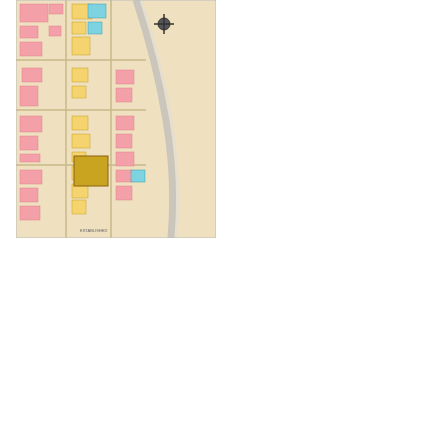[Figure (map): A Sanborn-style fire insurance map showing city blocks with buildings colored in pink, yellow, and blue/teal, with street lines and a curved road or rail line running through the map.]
Tools
[Figure (infographic): A Legend panel with dark grey header bar labeled 'Legend' and a black bottom bar with a small grey dot visible at the left edge.]